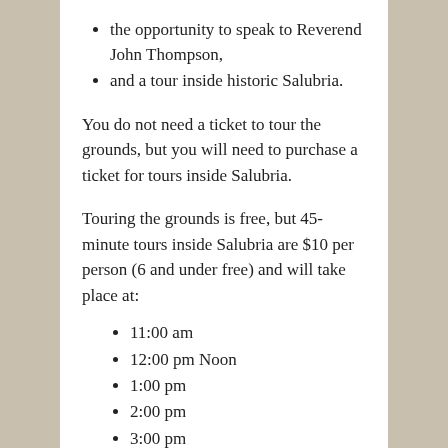the opportunity to speak to Reverend John Thompson,
and a tour inside historic Salubria.
You do not need a ticket to tour the grounds, but you will need to purchase a ticket for tours inside Salubria.
Touring the grounds is free, but 45-minute tours inside Salubria are $10 per person (6 and under free) and will take place at:
11:00 am
12:00 pm Noon
1:00 pm
2:00 pm
3:00 pm